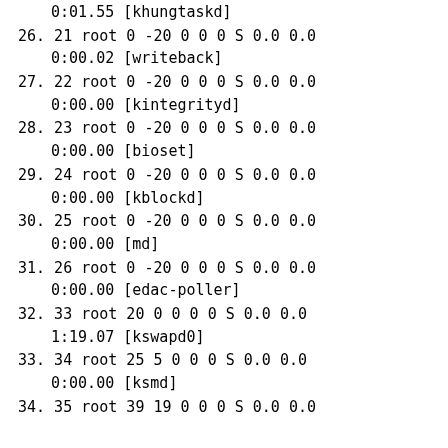0:01.55 [khungtaskd]
26. 21 root 0 -20 0 0 0 S 0.0 0.0
      0:00.02 [writeback]
27. 22 root 0 -20 0 0 0 S 0.0 0.0
      0:00.00 [kintegrityd]
28. 23 root 0 -20 0 0 0 S 0.0 0.0
      0:00.00 [bioset]
29. 24 root 0 -20 0 0 0 S 0.0 0.0
      0:00.00 [kblockd]
30. 25 root 0 -20 0 0 0 S 0.0 0.0
      0:00.00 [md]
31. 26 root 0 -20 0 0 0 S 0.0 0.0
      0:00.00 [edac-poller]
32. 33 root 20 0 0 0 0 S 0.0 0.0
      1:19.07 [kswapd0]
33. 34 root 25 5 0 0 0 S 0.0 0.0
      0:00.00 [ksmd]
34. 35 root 39 19 0 0 0 S 0.0 0.0